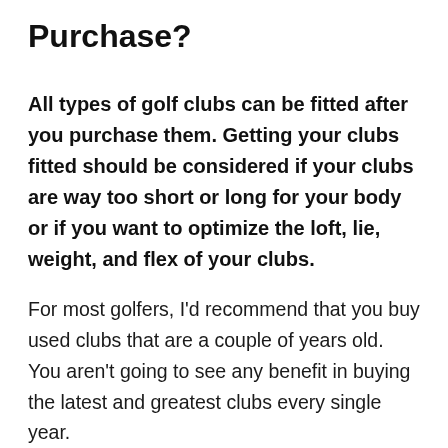Purchase?
All types of golf clubs can be fitted after you purchase them. Getting your clubs fitted should be considered if your clubs are way too short or long for your body or if you want to optimize the loft, lie, weight, and flex of your clubs.
For most golfers, I'd recommend that you buy used clubs that are a couple of years old. You aren't going to see any benefit in buying the latest and greatest clubs every single year.
Clubs that are a couple of years old are pretty